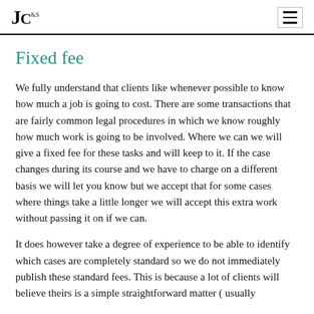JC
Fixed fee
We fully understand that clients like whenever possible to know how much a job is going to cost. There are some transactions that are fairly common legal procedures in which we know roughly how much work is going to be involved. Where we can we will give a fixed fee for these tasks and will keep to it. If the case changes during its course and we have to charge on a different basis we will let you know but we accept that for some cases where things take a little longer we will accept this extra work without passing it on if we can.
It does however take a degree of experience to be able to identify which cases are completely standard so we do not immediately publish these standard fees. This is because a lot of clients will believe theirs is a simple straightforward matter ( usually